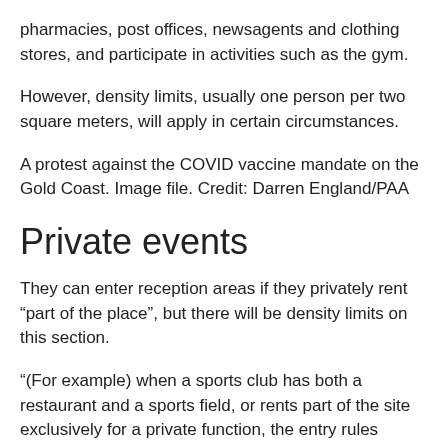pharmacies, post offices, newsagents and clothing stores, and participate in activities such as the gym.
However, density limits, usually one person per two square meters, will apply in certain circumstances.
A protest against the COVID vaccine mandate on the Gold Coast. Image file. Credit: Darren England/PAA
Private events
They can enter reception areas if they privately rent “part of the place”, but there will be density limits on this section.
“(For example) when a sports club has both a restaurant and a sports field, or rents part of the site exclusively for a private function, the entry rules applicable to each zone apply”, specify the public health orders.